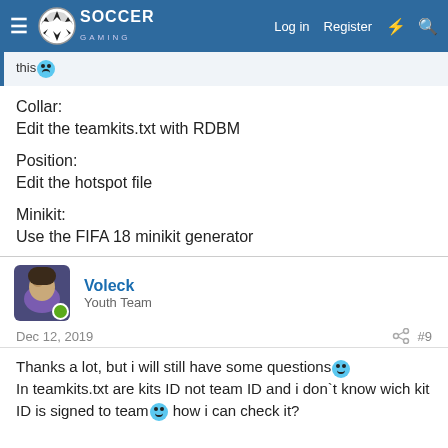Soccer Gaming forum navigation bar
this 😐
Collar:
Edit the teamkits.txt with RDBM
Position:
Edit the hotspot file
Minikit:
Use the FIFA 18 minikit generator
Voleck
Youth Team
Dec 12, 2019
#9
Thanks a lot, but i will still have some questions :) In teamkits.txt are kits ID not team ID and i don`t know wich kit ID is signed to team :) how i can check it?